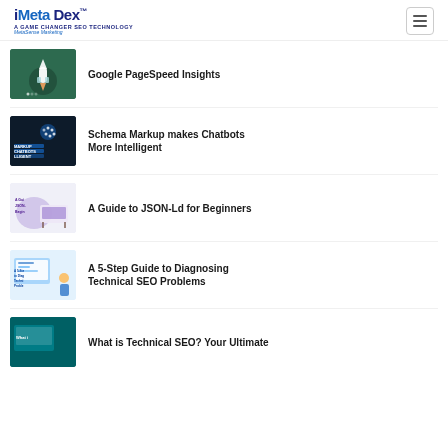iMetaDex™ — A GAME CHANGER SEO TECHNOLOGY — MetaSense Marketing
Google PageSpeed Insights
Schema Markup makes Chatbots More Intelligent
A Guide to JSON-Ld for Beginners
A 5-Step Guide to Diagnosing Technical SEO Problems
What is Technical SEO? Your Ultimate